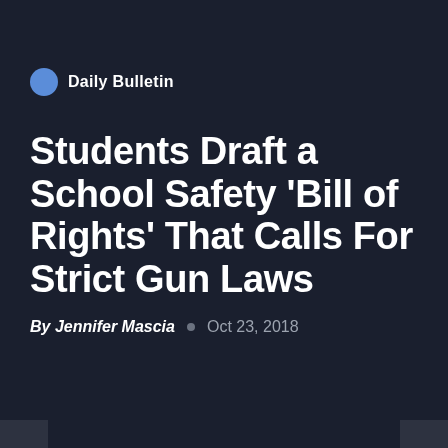Daily Bulletin
Students Draft a School Safety 'Bill of Rights' That Calls For Strict Gun Laws
By Jennifer Mascia  Oct 23, 2018